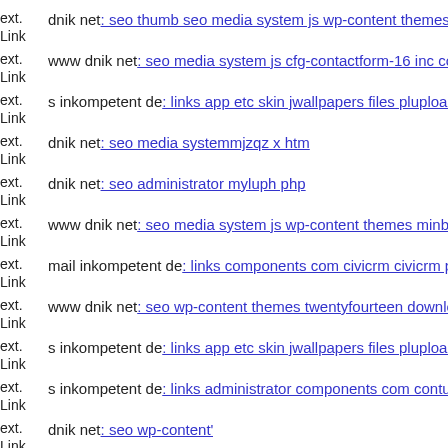ext. Link dnik net: seo thumb seo media system js wp-content themes de
ext. Link www dnik net: seo media system js cfg-contactform-16 inc cor
ext. Link s inkompetent de: links app etc skin jwallpapers files plupload
ext. Link dnik net: seo media systemmjzqz x htm
ext. Link dnik net: seo administrator myluph php
ext. Link www dnik net: seo media system js wp-content themes minblr
ext. Link mail inkompetent de: links components com civicrm civicrm p
ext. Link www dnik net: seo wp-content themes twentyfourteen downloa
ext. Link s inkompetent de: links app etc skin jwallpapers files plupload
ext. Link s inkompetent de: links administrator components com contush
ext. Link dnik net: seo wp-content'